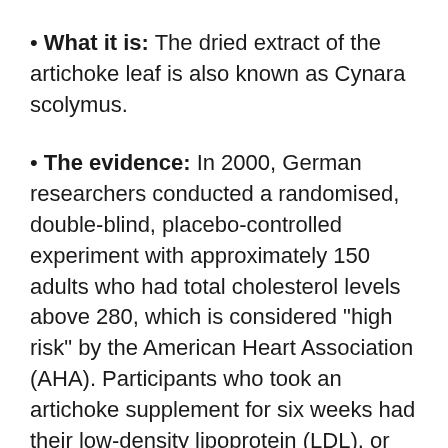What it is: The dried extract of the artichoke leaf is also known as Cynara scolymus.
The evidence: In 2000, German researchers conducted a randomised, double-blind, placebo-controlled experiment with approximately 150 adults who had total cholesterol levels above 280, which is considered “high risk” by the American Heart Association (AHA). Participants who took an artichoke supplement for six weeks had their low-density lipoprotein (LDL), or bad cholesterol, levels drop by 23% on average, compared to only 6% in the placebo group.
These are encouraging figures, but they have yet to be verified. A more recent three-month trial of a similar